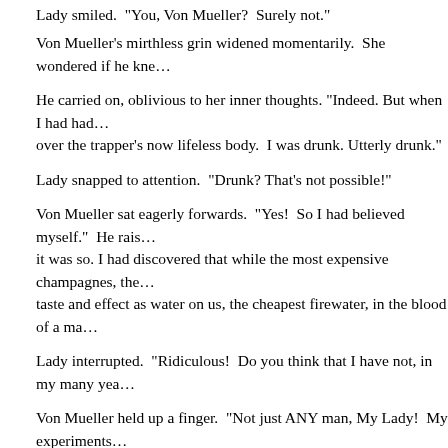Lady smiled.  "You, Von Mueller?  Surely not."
Von Mueller's mirthless grin widened momentarily.  She wondered if he kne…
He carried on, oblivious to her inner thoughts. "Indeed. But when I had had… over the trapper's now lifeless body.  I was drunk. Utterly drunk."
Lady snapped to attention.  "Drunk? That's not possible!"
Von Mueller sat eagerly forwards.  "Yes!  So I had believed myself."  He rais… it was so. I had discovered that while the most expensive champagnes, the… taste and effect as water on us, the cheapest firewater, in the blood of a ma…
Lady interrupted.  "Ridiculous!  Do you think that I have not, in my many yea…
Von Mueller held up a finger.  "Not just ANY man, My Lady!  My experiments… loss to understand the difference, until I recalled that when the blood had dr…
Lady placed her glass on the small coffee table between them.  "A liver prob…
Von Mueller beamed.  "Indeed! I wish my insight had been so swift - it woul… precise.  The cheap alcohol that he had consumed in such quantities remain…
Lady looked more closely at the menu. "Gin..."  She read.  "Whisky."
"Yes."  Von Mueller nodded. "Different alcohols produce distinctive flavours.…
Lady shook her head, and bent over the stiff printed card.  So many things s… mention of one she had not, could not, brought a cold tear to her eye.  "And…